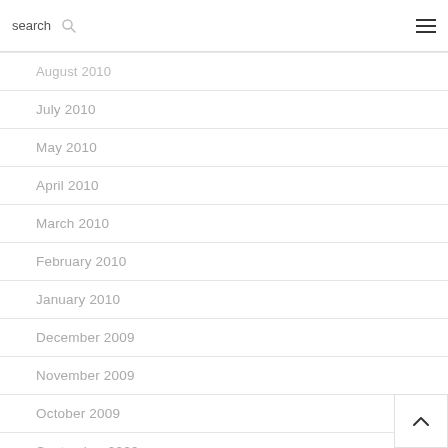search
August 2010
July 2010
May 2010
April 2010
March 2010
February 2010
January 2010
December 2009
November 2009
October 2009
September 2009
August 2009
July 2009